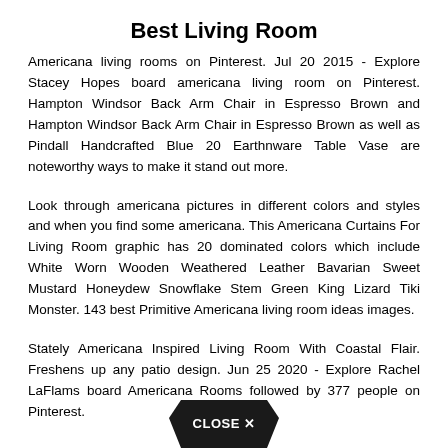Best Living Room
Americana living rooms on Pinterest. Jul 20 2015 - Explore Stacey Hopes board americana living room on Pinterest. Hampton Windsor Back Arm Chair in Espresso Brown and Hampton Windsor Back Arm Chair in Espresso Brown as well as Pindall Handcrafted Blue 20 Earthnware Table Vase are noteworthy ways to make it stand out more.
Look through americana pictures in different colors and styles and when you find some americana. This Americana Curtains For Living Room graphic has 20 dominated colors which include White Worn Wooden Weathered Leather Bavarian Sweet Mustard Honeydew Snowflake Stem Green King Lizard Tiki Monster. 143 best Primitive Americana living room ideas images.
Stately Americana Inspired Living Room With Coastal Flair. Freshens up any patio design. Jun 25 2020 - Explore Rachel LaFlams board Americana Rooms followed by 377 people on Pinterest.
[Figure (other): CLOSE X button in dark pentagon/badge shape at bottom center of page]